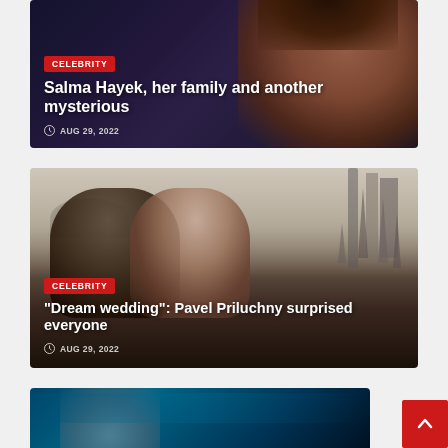[Figure (photo): Celebrity news card with photo of Salma Hayek, dark blue background, woman's face visible on right side]
CELEBRITY
Salma Hayek, her family and another mysterious
AUG 29, 2022
[Figure (photo): Celebrity news card with outdoor wedding photo of couple (Pavel Priluchny) about to kiss, city skyline with towers in background]
CELEBRITY
“Dream wedding”: Pavel Priluchny surprised everyone
AUG 29, 2022
[Figure (photo): Partially visible celebrity news card with teal background and woman's face]
[Figure (other): Scroll-to-top button, red square with up arrow]